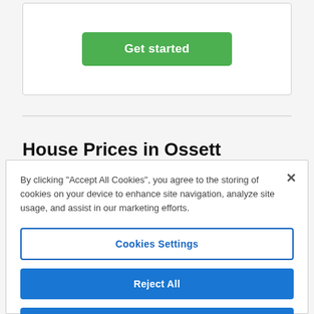[Figure (screenshot): Green 'Get started' button inside a white card with border]
House Prices in Ossett
By clicking "Accept All Cookies", you agree to the storing of cookies on your device to enhance site navigation, analyze site usage, and assist in our marketing efforts.
Cookies Settings
Reject All
Accept All Cookies